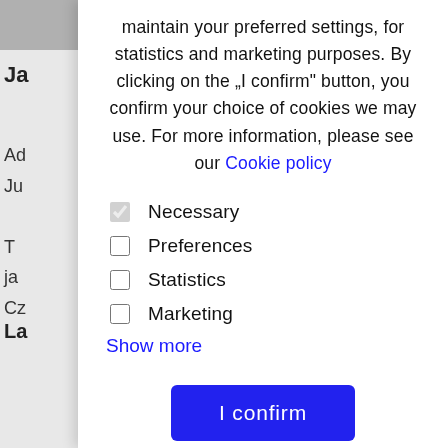maintain your preferred settings, for statistics and marketing purposes. By clicking on the „I confirm" button, you confirm your choice of cookies we may use. For more information, please see our Cookie policy
Necessary (checked)
Preferences
Statistics
Marketing
Show more
I confirm